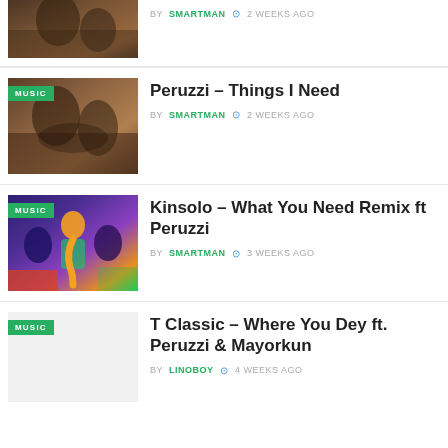[Figure (photo): Partial thumbnail of a music entry at top, showing people in artistic costumes]
BY SMARTMAN  2 WEEKS AGO
[Figure (photo): Thumbnail for Peruzzi - Things I Need with MUSIC badge, showing people in artistic costumes]
Peruzzi – Things I Need
BY SMARTMAN  2 WEEKS AGO
[Figure (photo): Thumbnail for Kinsolo - What You Need Remix ft Peruzzi with MUSIC badge, animated characters]
Kinsolo – What You Need Remix ft Peruzzi
BY SMARTMAN  3 WEEKS AGO
[Figure (photo): Thumbnail for T Classic - Where You Dey ft. Peruzzi & Mayorkun with MUSIC badge]
T Classic – Where You Dey ft. Peruzzi & Mayorkun
BY LINOBOY  4 WEEKS AGO